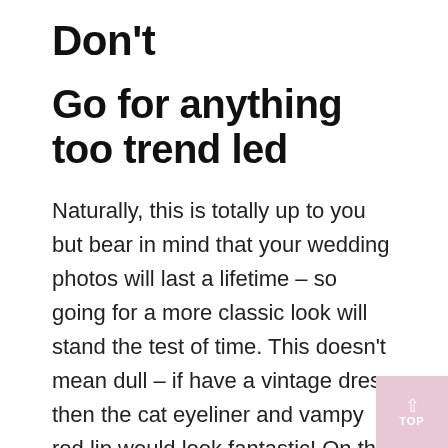Don't
Go for anything too trend led
Naturally, this is totally up to you but bear in mind that your wedding photos will last a lifetime – so going for a more classic look will stand the test of time. This doesn't mean dull – if have a vintage dress then the cat eyeliner and vampy red lip would look fantastic! On this note, if you are a glasses wearer you may wish to consider lenses as again glasses